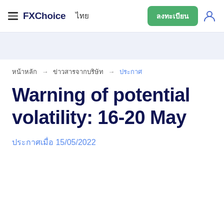FXChoice | ไทย | ลงทะเบียน
หน้าหลัก → ข่าวสารจากบริษัท → ประกาศ
Warning of potential volatility: 16-20 May
ประกาศเมื่อ 15/05/2022